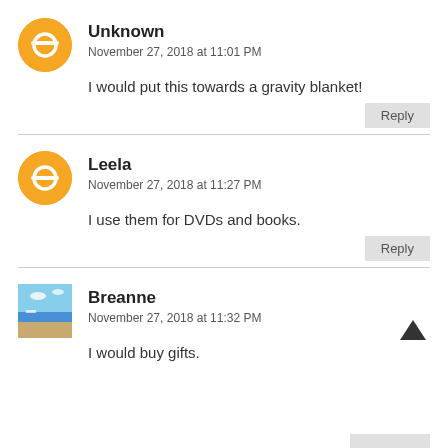Unknown
November 27, 2018 at 11:01 PM
I would put this towards a gravity blanket!
Reply
Leela
November 27, 2018 at 11:27 PM
I use them for DVDs and books.
Reply
Breanne
November 27, 2018 at 11:32 PM
I would buy gifts.